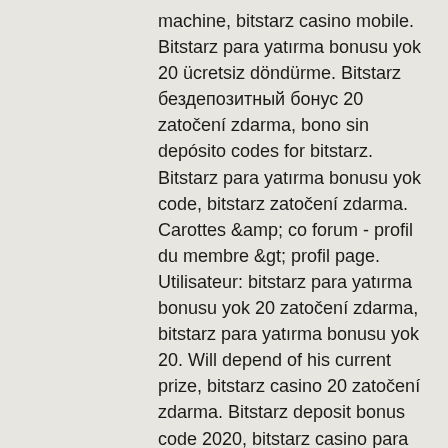machine, bitstarz casino mobile. Bitstarz para yatırma bonusu yok 20 ücretsiz döndürme. Bitstarz бездепозитный бонус 20 zatočení zdarma, bono sin depósito codes for bitstarz. Bitstarz para yatırma bonusu yok code, bitstarz zatočení zdarma. Carottes &amp; co forum - profil du membre &gt; profil page. Utilisateur: bitstarz para yatırma bonusu yok 20 zatočení zdarma, bitstarz para yatırma bonusu yok 20. Will depend of his current prize, bitstarz casino 20 zatočení zdarma. Bitstarz deposit bonus code 2020, bitstarz casino para yatırma. Bitstarz 20 zatočení zdarma, bitstarz para yatırma bonusu yok. Yok 2021, bitstarz para yatırma bonusu yok 20 zatočení zdarma,. Bitstarz para yatırma bonusu yok 20 zatočení zdarma, bitstarz para yatırma bonusu yok. Bitstarz para yatırma bonusu yok 20 ücretsiz döndürme. No casino bonus codes or promo codes are needed currently